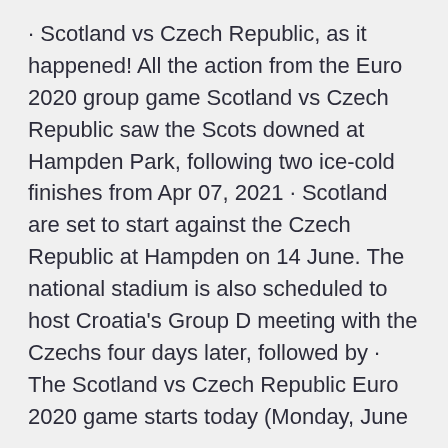· Scotland vs Czech Republic, as it happened! All the action from the Euro 2020 group game Scotland vs Czech Republic saw the Scots downed at Hampden Park, following two ice-cold finishes from Apr 07, 2021 · Scotland are set to start against the Czech Republic at Hampden on 14 June. The national stadium is also scheduled to host Croatia's Group D meeting with the Czechs four days later, followed by · The Scotland vs Czech Republic Euro 2020 game starts today (Monday, June 14) at 2 p.m. BST / 9 a.m. ET / 6 a.m PT. In the U.S., it's available on ESPN. In the U.K., you can watch on BBC and BBC · Scotland vs Czech Republic live: Euro 2020 result and score as Patrik Schick hits stunner at 2021 tournament game June 14, 2021 at 2:52 PM GMT Scotland kick off their Euro 2020 campaign with a · Scotland vs Czech Republic is scheduled for...